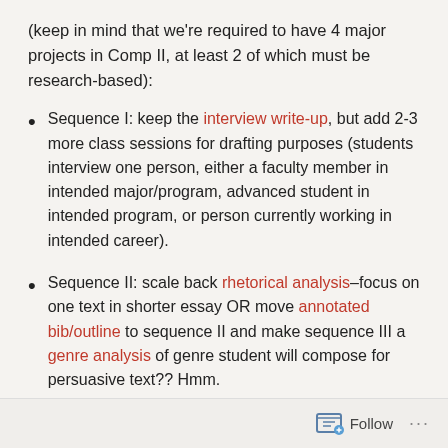(keep in mind that we're required to have 4 major projects in Comp II, at least 2 of which must be research-based):
Sequence I: keep the interview write-up, but add 2-3 more class sessions for drafting purposes (students interview one person, either a faculty member in intended major/program, advanced student in intended program, or person currently working in intended career).
Sequence II: scale back rhetorical analysis–focus on one text in shorter essay OR move annotated bib/outline to sequence II and make sequence III a genre analysis of genre student will compose for persuasive text?? Hmm.
Follow